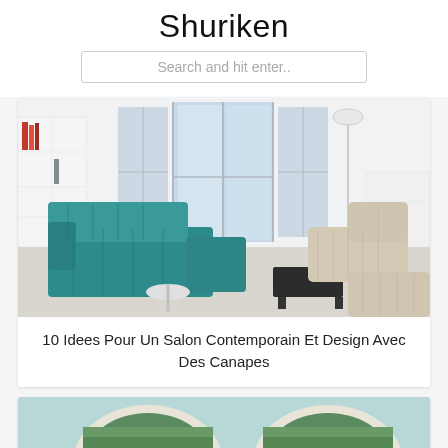Shuriken
Search and hit enter..
[Figure (photo): Modern living room with a teal/turquoise sectional sofa and a cream/beige lounge chair and chaise, white shelving units, and large glass balcony doors with natural light]
10 Idees Pour Un Salon Contemporain Et Design Avec Des Canapes
[Figure (photo): Partial view of a second card showing two round/oval mirror or window frames with a green landscape visible through them, light blue/teal background]